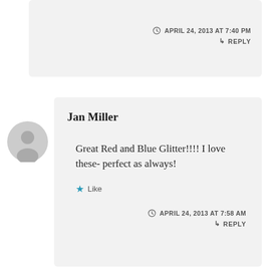APRIL 24, 2013 AT 7:40 PM
REPLY
Jan Miller
Great Red and Blue Glitter!!!! I love these- perfect as always!
Like
APRIL 24, 2013 AT 7:58 AM
REPLY